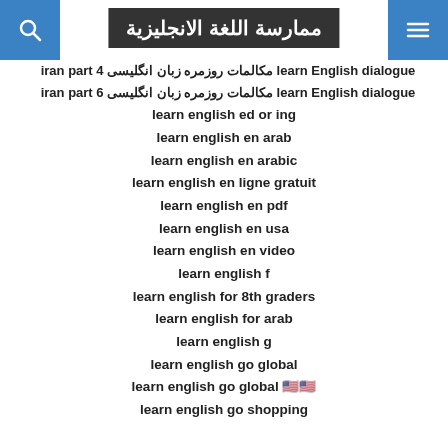ممارسة اللغة الانجليزية
learn English dialogue iran part 1 مکالمات روزمره زبان انگلیسی
learn English dialogue iran part 2 مکالمات روزمره زبان انگلیسی
learn English dialogue iran part 4 مکالمات روزمره زبان انگلیسی
learn English dialogue iran part 6 مکالمات روزمره زبان انگلیسی
learn english ed or ing
learn english en arab
learn english en arabic
learn english en ligne gratuit
learn english en pdf
learn english en usa
learn english en video
learn english f
learn english for 8th graders
learn english for arab
learn english g
learn english go global
learn english go global 🇺🇸
learn english go shopping